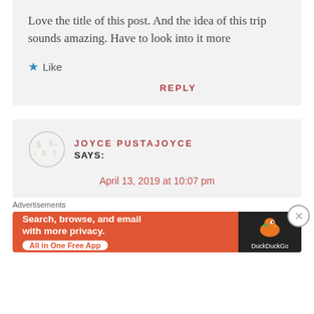Love the title of this post. And the idea of this trip sounds amazing. Have to look into it more
★ Like
REPLY
JOYCE PUSTAJOYCE SAYS:
April 13, 2019 at 10:07 pm
Advertisements
[Figure (screenshot): DuckDuckGo advertisement banner with orange background: 'Search, browse, and email with more privacy. All in One Free App' with DuckDuckGo duck logo on dark right panel]